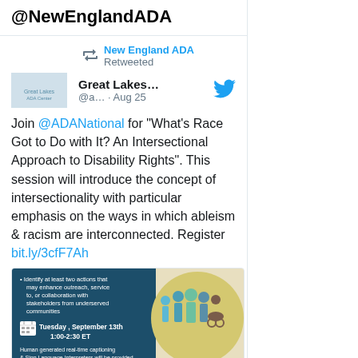@NewEnglandADA
New England ADA Retweeted
Great Lakes... @a... · Aug 25
Join @ADANational for "What's Race Got to Do with It? An Intersectional Approach to Disability Rights". This session will introduce the concept of intersectionality with particular emphasis on the ways in which ableism & racism are interconnected. Register bit.ly/3cfF7Ah
[Figure (infographic): Event flyer: bullet point about identifying two actions to enhance outreach, service to, or collaboration with stakeholders from underserved communities. Tuesday, September 13th, 1:00-2:30 ET. Human generated real-time captioning & Sign Language Interpreters will be provided. Illustration of diverse group of people on right side.]